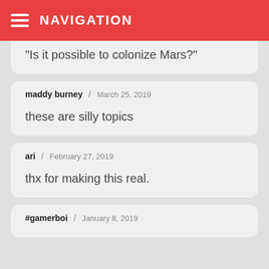NAVIGATION
“Is it possible to colonize Mars?”
maddy burney / March 25, 2019
these are silly topics
ari / February 27, 2019
thx for making this real.
#gamerboi / January 8, 2019